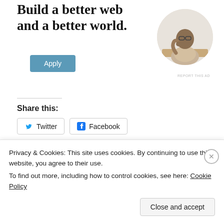Build a better web and a better world.
[Figure (photo): Circular portrait photo of a man with glasses, resting his chin on his hand, thinking, sitting at a desk]
REPORT THIS AD
Share this:
Twitter   Facebook
[Figure (screenshot): A Like button with a star icon, followed by a row of small avatar thumbnails of various users and brand logos]
Privacy & Cookies: This site uses cookies. By continuing to use this website, you agree to their use.
To find out more, including how to control cookies, see here: Cookie Policy
Close and accept
REPORT THIS AD